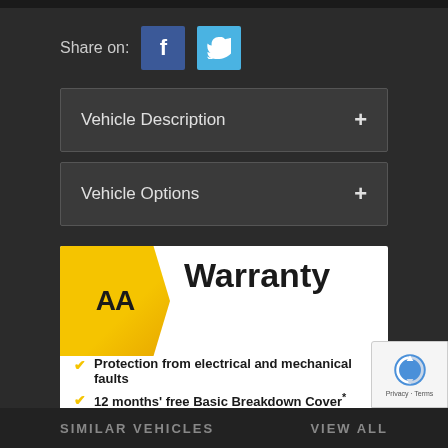Share on:
[Figure (other): Facebook and Twitter social share buttons]
Vehicle Description +
Vehicle Options +
[Figure (infographic): AA Warranty banner with logo, title 'Warranty', and three bullet points: Protection from electrical and mechanical faults; 12 months' free Basic Breakdown Cover or an upgrade for Members; Nationwide approved repair network. Disclaimer text at bottom.]
SIMILAR VEHICLES   VIEW ALL